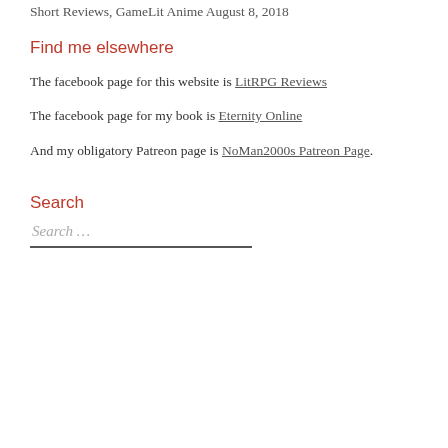Short Reviews, GameLit Anime August 8, 2018
Find me elsewhere
The facebook page for this website is LitRPG Reviews
The facebook page for my book is Eternity Online
And my obligatory Patreon page is NoMan2000s Patreon Page.
Search
Search …